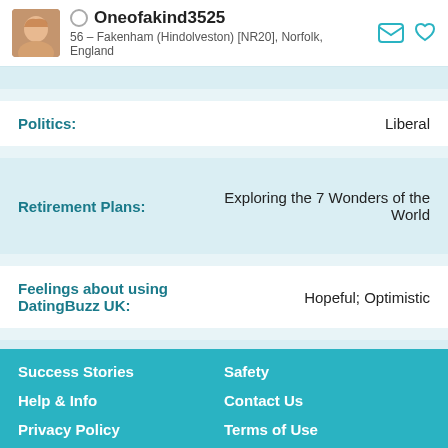Oneofakind3525 – 56 – Fakenham (Hindolveston) [NR20], Norfolk, England
Politics: Liberal
Retirement Plans: Exploring the 7 Wonders of the World
Feelings about using DatingBuzz UK: Hopeful; Optimistic
Honesty: Extremely
Success Stories | Safety | Help & Info | Contact Us | Privacy Policy | Terms of Use